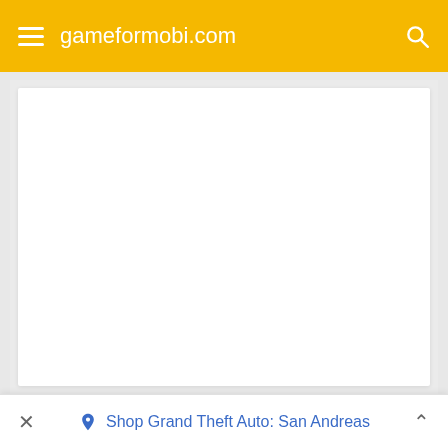gameformobi.com
[Figure (screenshot): White empty content area / advertisement placeholder on a light grey background]
Shop Grand Theft Auto: San Andreas